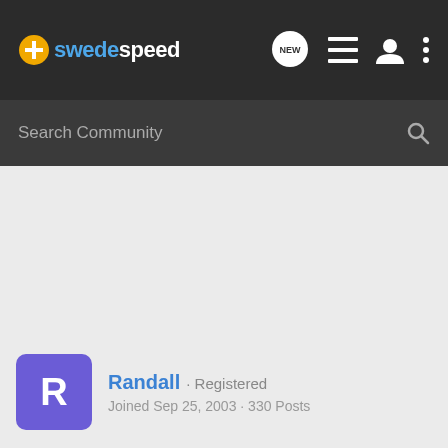swedespeed
Search Community
Randall · Registered
Joined Sep 25, 2003 · 330 Posts